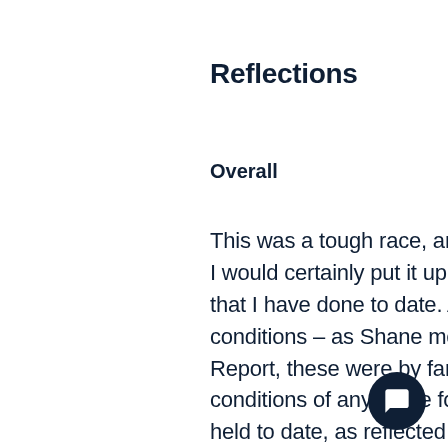Reflections
Overall
This was a tough race, and in terms of physical effort required, I would certainly put it up there as the most challenging one that I have done to date. A large part of this was down to the conditions – as Shane mentioned in the Race Director's Report, these were by far the worst weather and underfoot conditions of any of the four CWU editions that have been held to date, as reflected in the 38% completion rate compared to an historical